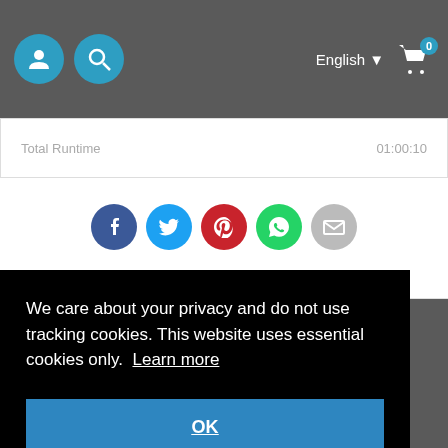English  0
| Total Runtime | 01:00:10 |
| --- | --- |
[Figure (infographic): Row of 5 social share icon circles: Facebook (dark blue), Twitter (light blue), Pinterest (red), WhatsApp (green), Email (gray)]
We care about your privacy and do not use tracking cookies. This website uses essential cookies only. Learn more
OK
Buy Vouchers   FAQ  Streaming